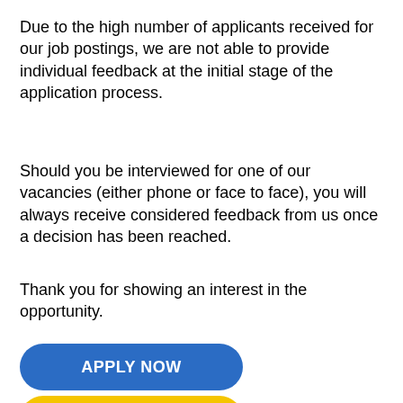Due to the high number of applicants received for our job postings, we are not able to provide individual feedback at the initial stage of the application process.
Should you be interviewed for one of our vacancies (either phone or face to face), you will always receive considered feedback from us once a decision has been reached.
Thank you for showing an interest in the opportunity.
[Figure (other): Blue rounded button with white bold text reading APPLY NOW]
[Figure (other): Yellow rounded button partially visible at bottom of page]